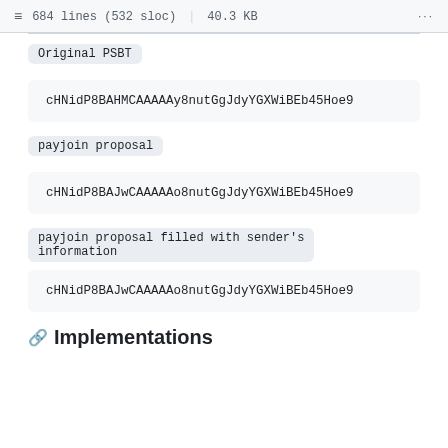684 lines (532 sloc)  |  40.3 KB
Original PSBT
cHNidP8BAHMCAAAAAy8nutGgJdyYGXWiBEb45Hoe9
payjoin proposal
cHNidP8BAJwCAAAAAo8nutGgJdyYGXWiBEb45Hoe9
payjoin proposal filled with sender's information
cHNidP8BAJwCAAAAAo8nutGgJdyYGXWiBEb45Hoe9
Implementations